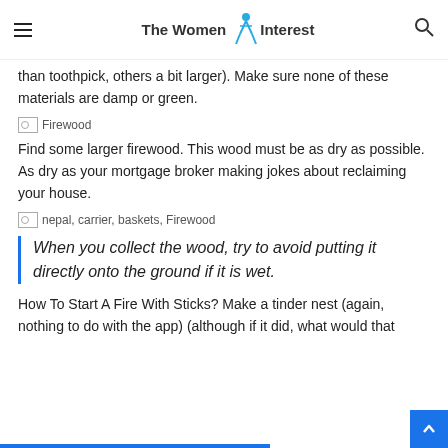The Women Interest
than toothpick, others a bit larger). Make sure none of these materials are damp or green.
[Figure (photo): Firewood image placeholder]
Find some larger firewood. This wood must be as dry as possible. As dry as your mortgage broker making jokes about reclaiming your house.
[Figure (photo): nepal, carrier, baskets, Firewood image placeholder]
When you collect the wood, try to avoid putting it directly onto the ground if it is wet.
How To Start A Fire With Sticks? Make a tinder nest (again, nothing to do with the app) (although if it did, what would that